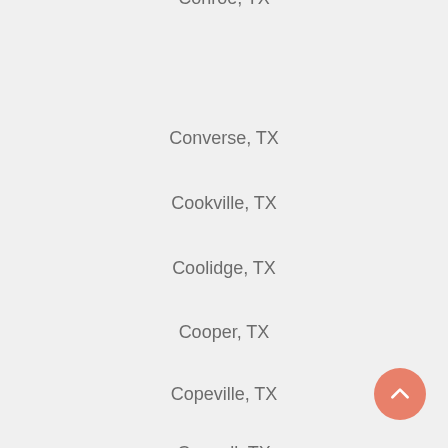Conroe, TX
Converse, TX
Cookville, TX
Coolidge, TX
Cooper, TX
Copeville, TX
Coppell, TX